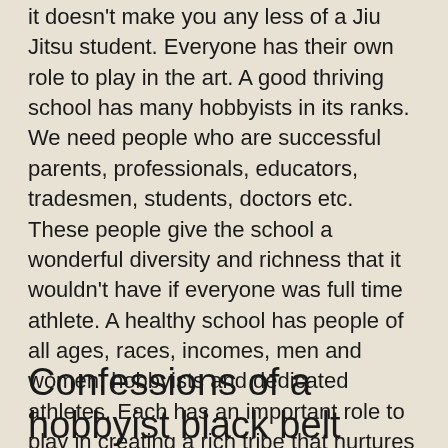it doesn't make you any less of a Jiu Jitsu student. Everyone has their own role to play in the art. A good thriving school has many hobbyists in its ranks. We need people who are successful parents, professionals, educators, tradesmen, students, doctors etc. These people give the school a wonderful diversity and richness that it wouldn't have if everyone was full time athlete. A healthy school has people of all ages, races, incomes, men and women, hobbyists and dedicated athletes. Each has an important role to play in creating a rich tribe that nurtures everyone's aspirations and respects everyone's path through Jiu Jitsu. With that said here's the voice of a part time hobbyist black belt:
Confessions of a hobbyist black belt